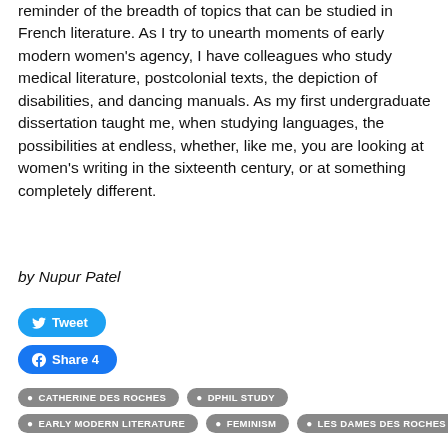reminder of the breadth of topics that can be studied in French literature. As I try to unearth moments of early modern women's agency, I have colleagues who study medical literature, postcolonial texts, the depiction of disabilities, and dancing manuals. As my first undergraduate dissertation taught me, when studying languages, the possibilities at endless, whether, like me, you are looking at women's writing in the sixteenth century, or at something completely different.
by Nupur Patel
[Figure (other): Tweet button (Twitter share button, blue rounded rectangle with Twitter bird icon and 'Tweet' text)]
[Figure (other): Facebook Share button (blue rounded rectangle with Facebook icon, 'Share 4' text)]
CATHERINE DES ROCHES
DPHIL STUDY
EARLY MODERN LITERATURE
FEMINISM
LES DAMES DES ROCHES